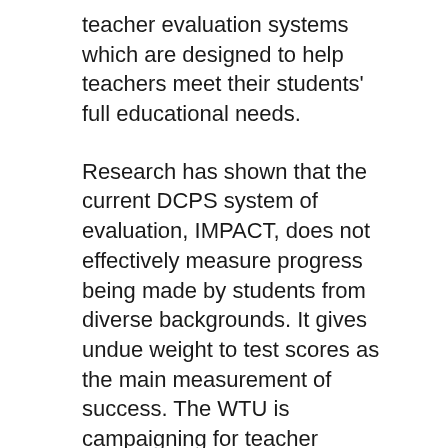teacher evaluation systems which are designed to help teachers meet their students' full educational needs.
Research has shown that the current DCPS system of evaluation, IMPACT, does not effectively measure progress being made by students from diverse backgrounds. It gives undue weight to test scores as the main measurement of success. The WTU is campaigning for teacher performance measurements that are developed, adopted and implemented collaboratively by teachers and administrators to replace IMPACT.